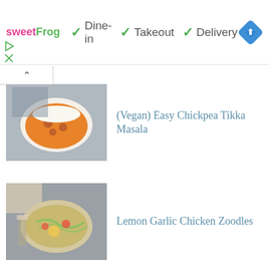[Figure (screenshot): Website banner advertisement for sweetFrog with dine-in, takeout, and delivery options checked, plus a blue navigation/directions icon]
(Vegan) Easy Chickpea Tikka Masala
Lemon Garlic Chicken Zoodles
Easy Creamy Crock-Pot Chicken Tikka Masala
The Magic of Oatmeal